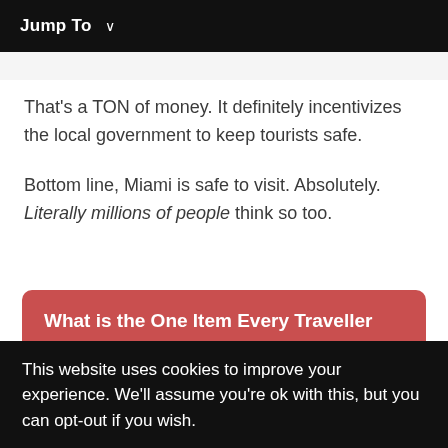Jump To ∨
That's a TON of money. It definitely incentivizes the local government to keep tourists safe.
Bottom line, Miami is safe to visit. Absolutely. Literally millions of people think so too.
What is the One Item Every Traveller NEEDS???
This website uses cookies to improve your experience. We'll assume you're ok with this, but you can opt-out if you wish.